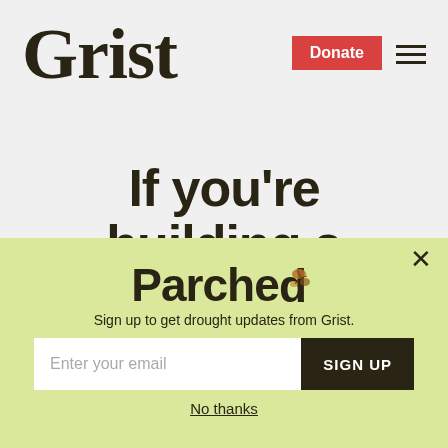Grist
If you’re building a power plant and it isn’t natural gas.
[Figure (screenshot): Popup newsletter signup overlay with yellow-green background. Title: 'Parched' (with cracked/drought texture on the letter d). Subtitle: 'Sign up to get drought updates from Grist.' Email input field with 'Enter your email' placeholder and dark 'SIGN UP' button. 'No thanks' link below.]